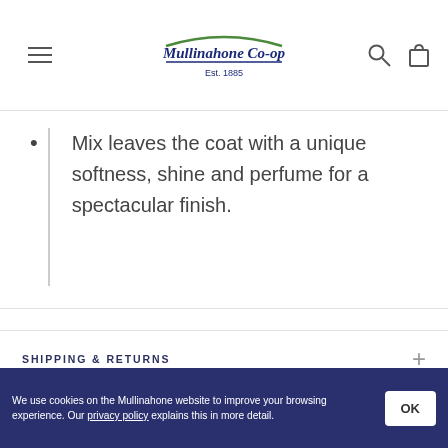Mullinahone Co-op Est. 1885
Mix leaves the coat with a unique softness, shine and perfume for a spectacular finish.
SHIPPING & RETURNS
YOU MAY ALSO LIKE
We use cookies on the Mullinahone website to improve your browsing experience. Our privacy policy explains this in more detail.